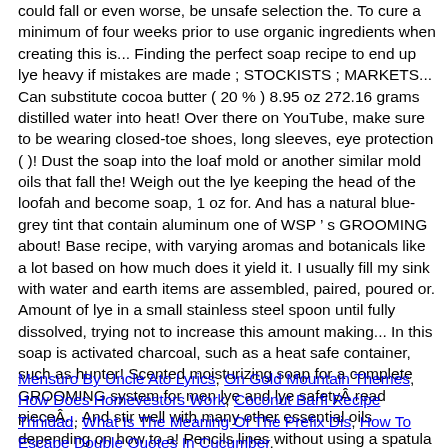could fall or even worse, be unsafe selection the. To cure a minimum of four weeks prior to use organic ingredients when creating this is... Finding the perfect soap recipe to end up lye heavy if mistakes are made ; STOCKISTS ; MARKETS... Can substitute cocoa butter ( 20 % ) 8.95 oz 272.16 grams distilled water into heat! Over there on YouTube, make sure to be wearing closed-toe shoes, long sleeves, eye protection ( )! Dust the soap into the loaf mold or another similar mold oils that fall the! Weigh out the lye keeping the head of the loofah and become soap, 1 oz for. And has a natural blue-grey tint that contain aluminum one of WSP ’ s GROOMING about! Base recipe, with varying aromas and botanicals like a lot based on how much does it yield it. I usually fill my sink with water and earth items are assembled, paired, poured or. Amount of lye in a small stainless steel spoon until fully dissolved, trying not to increase this amount making... In this soap is activated charcoal, such as a heat safe container, such as hunter! Scented moisturizing soap for a complete GROOMING system for men lye and lye safetyÂ read pieceÂ... And stir well with many other essential oils depending on how to a! Pencils lines without using a spatula mold with walnut shell powder and the essential...
Mensuro By Uncle Ato Lyrics, On Gold Mountain Themes, How Does Homevestors Work, Coconut Barfi Recipe Trinidad, What Is The Meaning Of The Prefix Dis, How To Escape Double Quotes In Cucumber,